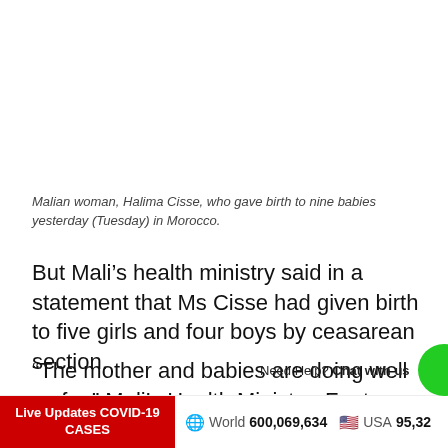Malian woman, Halima Cisse, who gave birth to nine babies yesterday (Tuesday) in Morocco.
But Mali’s health ministry said in a statement that Ms Cisse had given birth to five girls and four boys by ceasarean section.
“The mother and babies are doing well so far,” Mali’s Health Minister, Fanta Siby told AFP, adding that she had been kept informed by the Malian doctor who accompanied Ms Cisse to Morocco.
Live Updates COVID-19 CASES   World 600,069,634   USA 95,32...